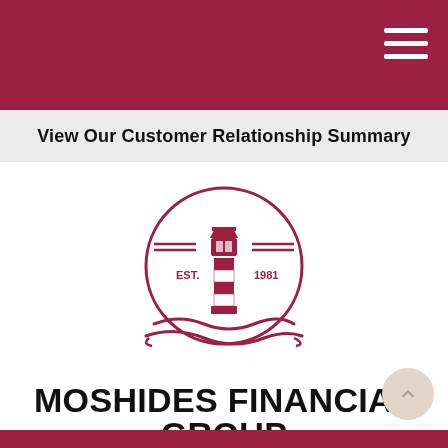View Our Customer Relationship Summary
[Figure (logo): Moshides Financial Group lighthouse logo with circular border, EST. 1981 text, red and white striped lighthouse with waves]
MOSHIDES FINANCIAL GROUP
Your Guide to Financial Freedom
716-636-2525